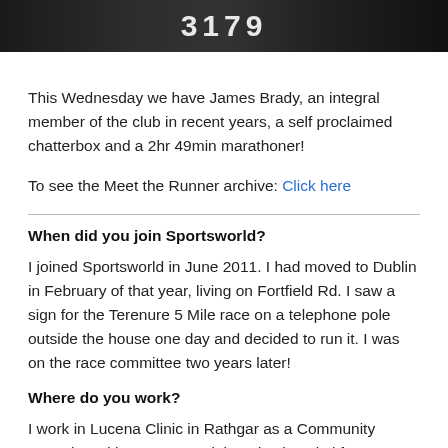[Figure (photo): Dark photo bar showing a race number 3179, partial view of a runner in a race event]
This Wednesday we have James Brady, an integral member of the club in recent years, a self proclaimed chatterbox and a 2hr 49min marathoner!
To see the Meet the Runner archive: Click here
When did you join Sportsworld?
I joined Sportsworld in June 2011. I had moved to Dublin in February of that year, living on Fortfield Rd. I saw a sign for the Terenure 5 Mile race on a telephone pole outside the house one day and decided to run it. I was on the race committee two years later!
Where do you work?
I work in Lucena Clinic in Rathgar as a Community Mental Health Nurse. I work in a day hospital for adolescents